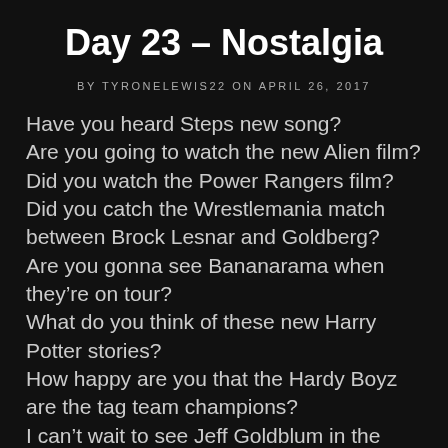Day 23 – Nostalgia
BY TYRONELEWIS22 ON APRIL 26, 2017
Have you heard Steps new song?
Are you going to watch the new Alien film?
Did you watch the Power Rangers film?
Did you catch the Wrestlemania match between Brock Lesnar and Goldberg?
Are you gonna see Bananarama when they're on tour?
What do you think of these new Harry Potter stories?
How happy are you that the Hardy Boyz are the tag team champions?
I can't wait to see Jeff Goldblum in the next Independence day film.
I can't wait to see Jeff Goldblum in the next Jurassic